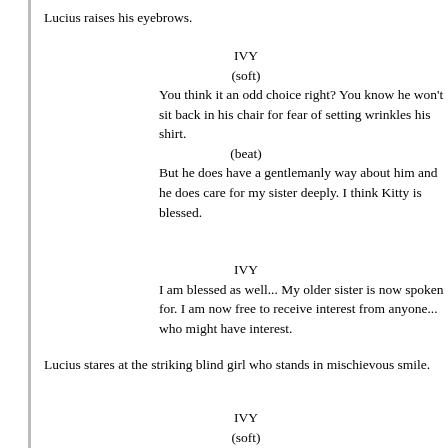Lucius raises his eyebrows.
IVY
(soft)
You think it an odd choice right? You know he won't sit back in his chair for fear of setting wrinkles his shirt.
(beat)
But he does have a gentlemanly way about him and he does care for my sister deeply. I think Kitty is blessed.
IVY
I am blessed as well... My older sister is now spoken for. I am now free to receive interest from anyone... who might have interest.
Lucius stares at the striking blind girl who stands in mischievous smile.
IVY
(soft)